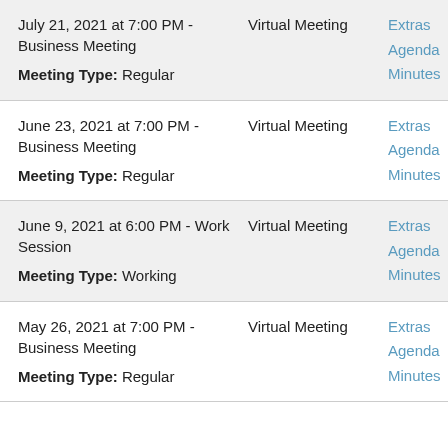July 21, 2021 at 7:00 PM - Business Meeting
Meeting Type: Regular
Virtual Meeting
Extras Agenda Minutes
June 23, 2021 at 7:00 PM - Business Meeting
Meeting Type: Regular
Virtual Meeting
Extras Agenda Minutes
June 9, 2021 at 6:00 PM - Work Session
Meeting Type: Working
Virtual Meeting
Extras Agenda Minutes
May 26, 2021 at 7:00 PM - Business Meeting
Meeting Type: Regular
Virtual Meeting
Extras Agenda Minutes